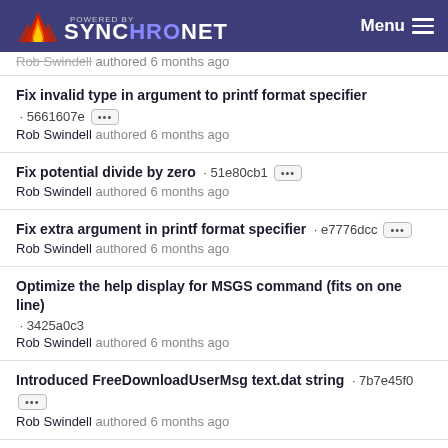POWERED BY SYNCHRONET  Menu
Rob Swindell authored 6 months ago
Fix invalid type in argument to printf format specifier · 5661607e  Rob Swindell authored 6 months ago
Fix potential divide by zero · 51e80cb1  Rob Swindell authored 6 months ago
Fix extra argument in printf format specifier · e7776dcc  Rob Swindell authored 6 months ago
Optimize the help display for MSGS command (fits on one line) · 3425a0c3  Rob Swindell authored 6 months ago
Introduced FreeDownloadUserMsg text.dat string · 7b7e45f0  Rob Swindell authored 6 months ago